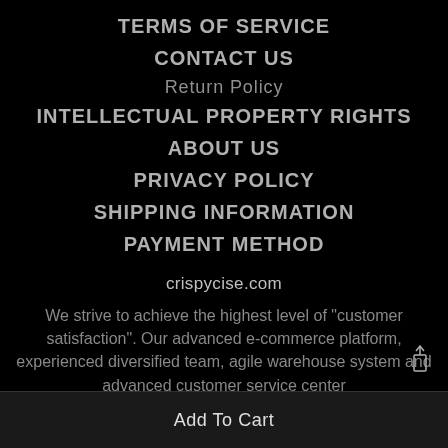TERMS OF SERVICE
CONTACT US
Return Policy
INTELLECTUAL PROPERTY RIGHTS
ABOUT US
PRIVACY POLICY
SHIPPING INFORMATION
PAYMENT METHOD
crispycise.com
We strive to achieve the highest level of "customer satisfaction". Our advanced e-commerce platform, experienced diversified team, agile warehouse system and advanced customer service center
Add To Cart